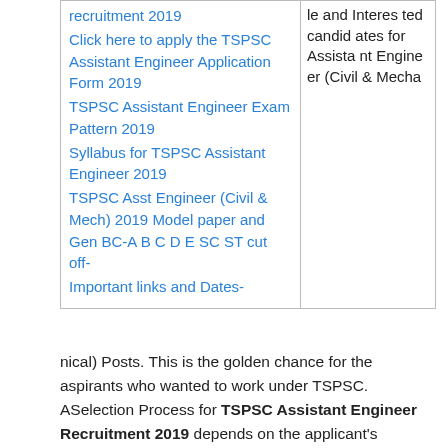recruitment 2019
Click here to apply the TSPSC Assistant Engineer Application Form 2019
TSPSC Assistant Engineer Exam Pattern 2019
Syllabus for TSPSC Assistant Engineer 2019
TSPSC Asst Engineer (Civil & Mech) 2019 Model paper and Gen BC-A B C D E SC ST cut off-
Important links and Dates-
le and Interested candidates for Assistant Engineer (Civil & Mechanical) Posts. This is the golden chance for the aspirants who wanted to work under TSPSC. ASelection Process for TSPSC Assistant Engineer Recruitment 2019 depends on the applicant's performance in written exam and Interview. Postulants can check the official